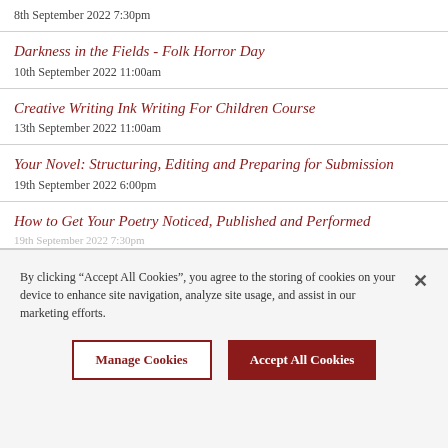8th September 2022 7:30pm
Darkness in the Fields - Folk Horror Day
10th September 2022 11:00am
Creative Writing Ink Writing For Children Course
13th September 2022 11:00am
Your Novel: Structuring, Editing and Preparing for Submission
19th September 2022 6:00pm
How to Get Your Poetry Noticed, Published and Performed
19th September 2022 7:30pm
By clicking “Accept All Cookies”, you agree to the storing of cookies on your device to enhance site navigation, analyze site usage, and assist in our marketing efforts.
Manage Cookies
Accept All Cookies